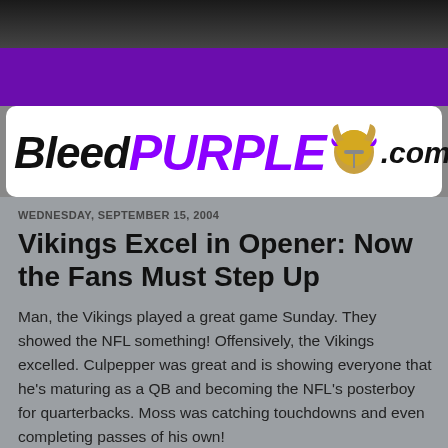[Figure (logo): BleedPURPLE.com logo banner with Viking helmet graphic and 'die-hard Vikings fans only!!!' text on purple background]
WEDNESDAY, SEPTEMBER 15, 2004
Vikings Excel in Opener: Now the Fans Must Step Up
Man, the Vikings played a great game Sunday. They showed the NFL something! Offensively, the Vikings excelled. Culpepper was great and is showing everyone that he's maturing as a QB and becoming the NFL's posterboy for quarterbacks. Moss was catching touchdowns and even completing passes of his own!